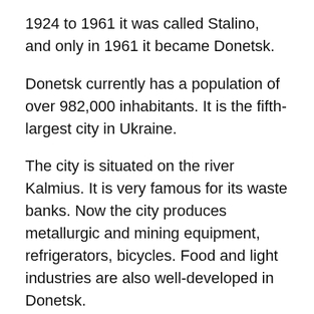1924 to 1961 it was called Stalino, and only in 1961 it became Donetsk.
Donetsk currently has a population of over 982,000 inhabitants. It is the fifth-largest city in Ukraine.
The city is situated on the river Kalmius. It is very famous for its waste banks. Now the city produces metallurgic and mining equipment, refrigerators, bicycles. Food and light industries are also well-developed in Donetsk.
Donetsk is a well-known educational location of the surrounding area, accompanied with several universities, which include 5 state universities, 11